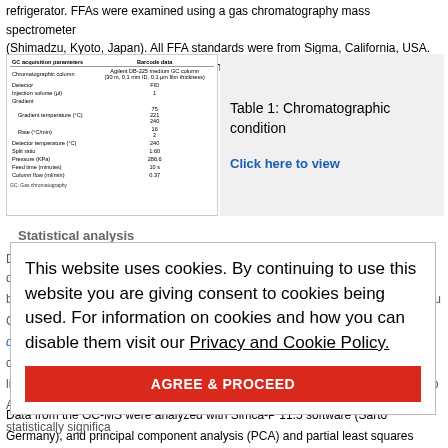refrigerator. FFAs were examined using a gas chromatography mass spectrometer (Shimadzu, Kyoto, Japan). All FFA standards were from Sigma, California, USA. the gas chromatographic analysis are shown in [Table 1].
[Figure (table-as-image): Table showing GC acquisition parameters and corresponding data including chromatographic column, detector, injection volume, gradient temperature, rate, detector temperature, split ratio, pressure, feed time, and column flow]
Table 1: Chromatographic condition
Click here to view
Statistical analysis
Data conforming to a normal distribution are expressed as mean ± standard deviation; differences between groups were compared using an independent-sample t-test for continuous variables and Chi-square test for categorical variables. Data that did not conform to a normal distribution are expressed as median (first quartile, third quartile), and the Wilcoxon rank-sum test was used to compare differences between the two groups. A correlation analysis was carried out with Pearson's linear correlation analysis (normal distribution) or Spearman's rank correlation (abnormal distribution). All analyses were performed with SPSS (IBM, NY, USA) 16.0, and a P < 0.05 was considered statistically significant.
Data from the GC-MS were analyzed with Simca-P 11.5 software (Sartorius, Germany), and principal component analysis (PCA) and partial least squares